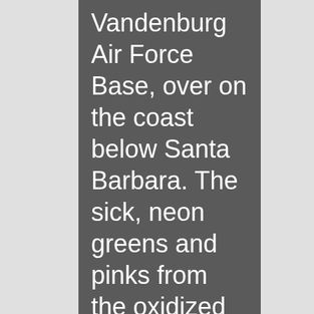Vandenburg Air Force Base, over on the coast below Santa Barbara. The sick, neon greens and pinks from the oxidized rocket fuel created a spectacular display. Chanting